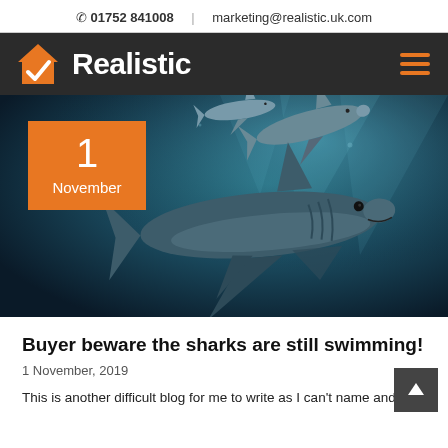📞 01752 841008  |  marketing@realistic.uk.com
[Figure (logo): Realistic logo: orange house with checkmark icon and white bold text 'Realistic' on dark background, with hamburger menu icon]
[Figure (photo): Underwater photo of sharks swimming, with orange date badge showing '1 November']
Buyer beware the sharks are still swimming!
1 November, 2019
This is another difficult blog for me to write as I can't name and